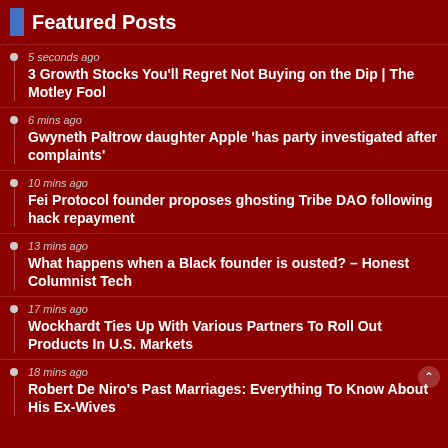Featured Posts
5 seconds ago
3 Growth Stocks You'll Regret Not Buying on the Dip | The Motley Fool
6 mins ago
Gwyneth Paltrow daughter Apple 'has party investigated after complaints'
10 mins ago
Fei Protocol founder proposes ghosting Tribe DAO following hack repayment
13 mins ago
What happens when a Black founder is ousted? – Honest Columnist Tech
17 mins ago
Wockhardt Ties Up With Various Partners To Roll Out Products In U.S. Markets
18 mins ago
Robert De Niro's Past Marriages: Everything To Know About His Ex-Wives